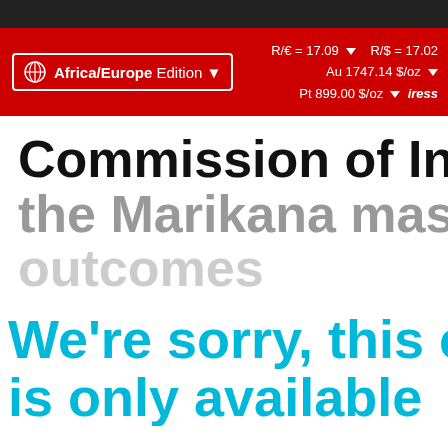Africa/Europe Edition  R/€ = 17.09  R/$ = 17.02  Au 1747.14 $/oz  Pt 899.00 $/oz  iress
Commission of Inquiry into the Marikana massacre outcomes
We're sorry, this content is only available